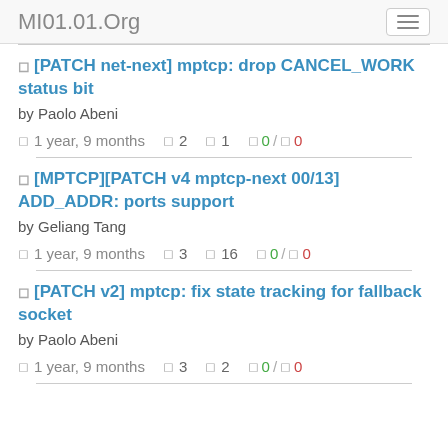MI01.01.Org
[PATCH net-next] mptcp: drop CANCEL_WORK status bit
by Paolo Abeni
1 year, 9 months | 2 | 1 | 0 / 0
[MPTCP][PATCH v4 mptcp-next 00/13] ADD_ADDR: ports support
by Geliang Tang
1 year, 9 months | 3 | 16 | 0 / 0
[PATCH v2] mptcp: fix state tracking for fallback socket
by Paolo Abeni
1 year, 9 months | 3 | 2 | 0 / 0